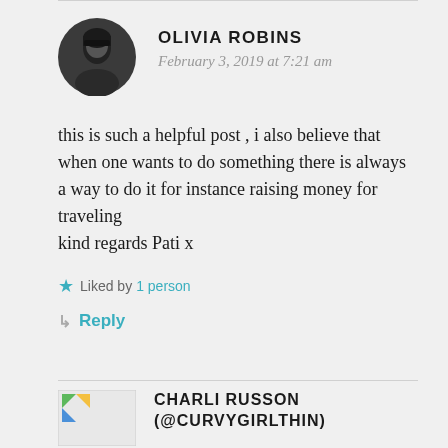OLIVIA ROBINS
February 3, 2019 at 7:21 am
this is such a helpful post , i also believe that when one wants to do something there is always a way to do it for instance raising money for traveling
kind regards Pati x
Liked by 1 person
Reply
CHARLI RUSSON (@CURVYGIRLTHIN)
February 3, 2019 at 11:12 am
One of my friends does a house swap. She will go and